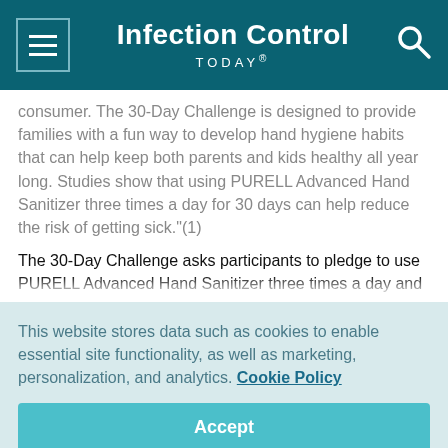Infection Control TODAY®
consumer. The 30-Day Challenge is designed to provide families with a fun way to develop hand hygiene habits that can help keep both parents and kids healthy all year long. Studies show that using PURELL Advanced Hand Sanitizer three times a day for 30 days can help reduce the risk of getting sick."(1)
The 30-Day Challenge asks participants to pledge to use PURELL Advanced Hand Sanitizer three times a day and
This website stores data such as cookies to enable essential site functionality, as well as marketing, personalization, and analytics. Cookie Policy
Accept
Deny